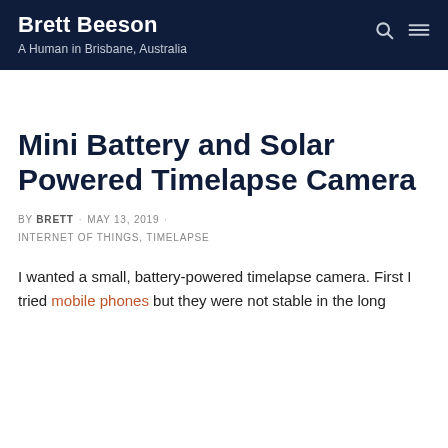Brett Beeson · A Human in Brisbane, Australia
Mini Battery and Solar Powered Timelapse Camera
BY BRETT · MAY 13, 2019 · INTERNET OF THINGS, TIMELAPSE
I wanted a small, battery-powered timelapse camera. First I tried mobile phones but they were not stable in the long